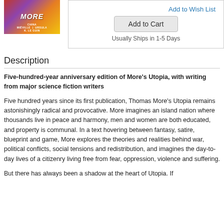[Figure (illustration): Book cover for 'More' (Utopia anniversary edition) with colorful gradient background showing title 'MORE' and author names China Miéville and Ursula K. Le Guin]
Add to Wish List
Add to Cart
Usually Ships in 1-5 Days
Description
Five-hundred-year anniversary edition of More's Utopia, with writing from major science fiction writers
Five hundred years since its first publication, Thomas More's Utopia remains astonishingly radical and provocative. More imagines an island nation where thousands live in peace and harmony, men and women are both educated, and property is communal. In a text hovering between fantasy, satire, blueprint and game, More explores the theories and realities behind war, political conflicts, social tensions and redistribution, and imagines the day-to-day lives of a citizenry living free from fear, oppression, violence and suffering.
But there has always been a shadow at the heart of Utopia. If